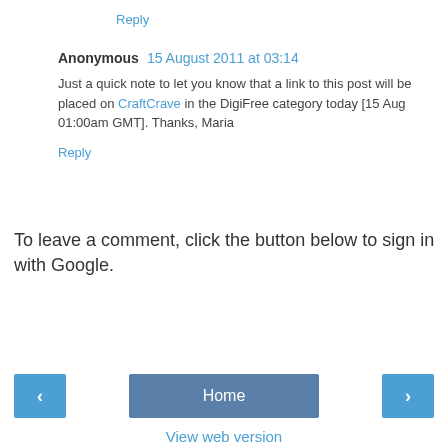Reply
Anonymous  15 August 2011 at 03:14
Just a quick note to let you know that a link to this post will be placed on CraftCrave in the DigiFree category today [15 Aug 01:00am GMT]. Thanks, Maria
Reply
To leave a comment, click the button below to sign in with Google.
SIGN IN WITH GOOGLE
Home
View web version
Powered by Blogger.